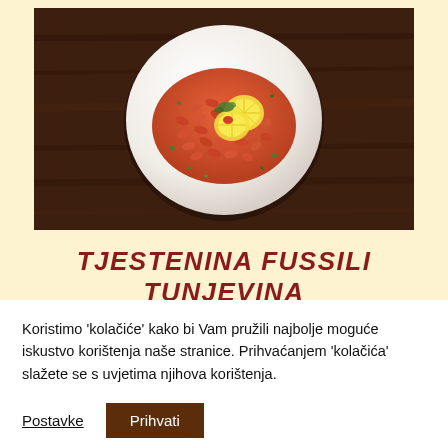[Figure (photo): A plate of fusilli pasta with tuna in tomato sauce, garnished with lemon slices and herbs, on a white plate against a dark wooden background.]
TJESTENINA FUSSILI TUNJEVINA
Koristimo 'kolačiće' kako bi Vam pružili najbolje moguće iskustvo korištenja naše stranice. Prihvaćanjem 'kolačića' slažete se s uvjetima njihova korištenja.
Postavke
Prihvati